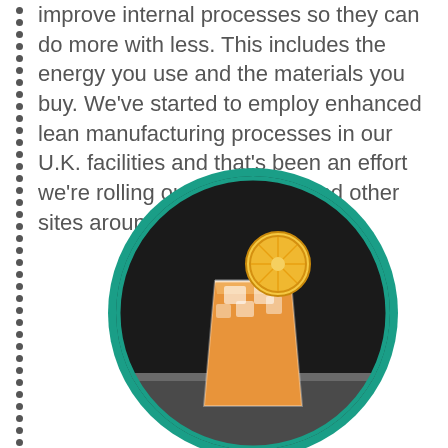improve internal processes so they can do more with less. This includes the energy you use and the materials you buy. We've started to employ enhanced lean manufacturing processes in our U.K. facilities and that's been an effort we're rolling out in the U.S. and other sites around the world.
[Figure (photo): A glass of orange citrus drink with ice and a lemon/orange slice on the rim, set against a dark background, displayed inside a teal circular frame.]